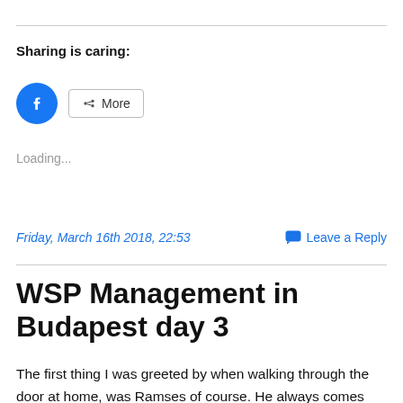Sharing is caring:
[Figure (other): Facebook share button (blue circle with white f icon) and a More share button with share icon]
Loading...
Friday, March 16th 2018, 22:53   💬 Leave a Reply
WSP Management in Budapest day 3
The first thing I was greeted by when walking through the door at home, was Ramses of course. He always comes